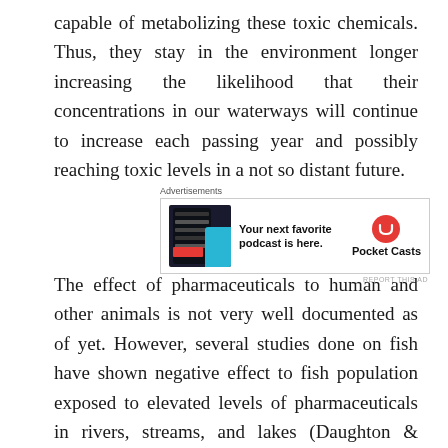capable of metabolizing these toxic chemicals. Thus, they stay in the environment longer increasing the likelihood that their concentrations in our waterways will continue to increase each passing year and possibly reaching toxic levels in a not so distant future.
[Figure (other): Advertisement banner for Pocket Casts podcast app. Shows app screenshot on phone, bold text 'Your next favorite podcast is here.' and Pocket Casts logo.]
The effect of pharmaceuticals to human and other animals is not very well documented as of yet. However, several studies done on fish have shown negative effect to fish population exposed to elevated levels of pharmaceuticals in rivers, streams, and lakes (Daughton & Tomes, 1999; Boxall et al. 2003a; 2004a;